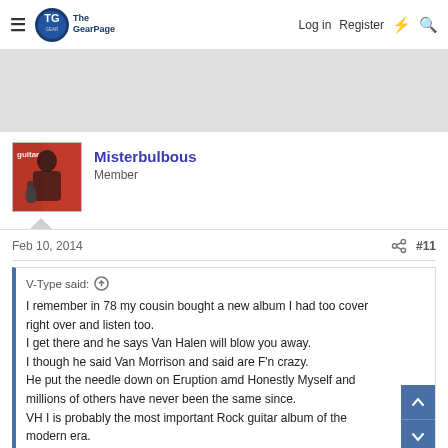The Gear Page — Log in  Register
[Figure (other): Gray advertisement placeholder area]
Misterbulbous
Member
Feb 10, 2014   #11
V-Type said:
I remember in 78 my cousin bought a new album I had too cover right over and listen too.
I get there and he says Van Halen will blow you away.
I though he said Van Morrison and said are F'n crazy.
He put the needle down on Eruption amd Honestly Myself and millions of others have never been the same since.
VH I is probably the most important Rock guitar album of the modern era.